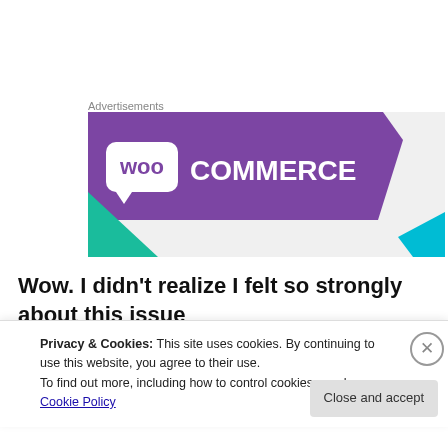Advertisements
[Figure (logo): WooCommerce advertisement banner with purple background and teal/blue geometric accents]
Wow. I didn't realize I felt so strongly about this issue (that's a lie. I so did)! I got past it though because holy
Privacy & Cookies: This site uses cookies. By continuing to use this website, you agree to their use.
To find out more, including how to control cookies, see here: Cookie Policy
Close and accept